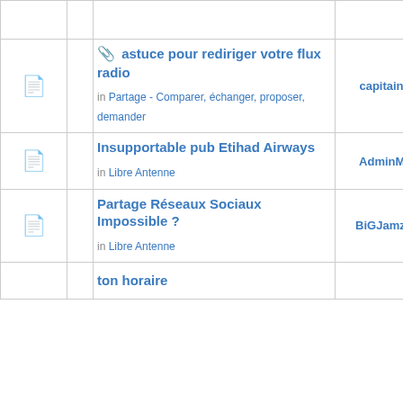|  |  | Topic | Author | Replies | Views |
| --- | --- | --- | --- | --- | --- |
|  |  | 📎 astuce pour rediriger votre flux radio
in Partage - Comparer, échanger, proposer, demander | capitainejoe | 0 | 64579 |
|  |  | Insupportable pub Etihad Airways
in Libre Antenne | AdminMazik | 0 | 7944 |
|  |  | Partage Réseaux Sociaux Impossible ?
in Libre Antenne | BiGJamzBMF | 0 | 7601 |
|  |  | ton horaire |  |  |  |